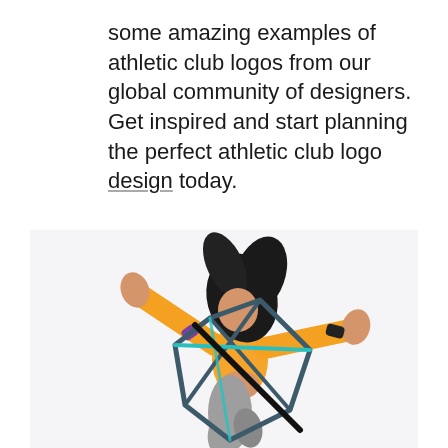some amazing examples of athletic club logos from our global community of designers. Get inspired and start planning the perfect athletic club logo design today.
[Figure (photo): A woman in a yellow top and grey sweatpants jumping dynamically with arms spread wide and dark hair flowing, overlaid with a geometric diamond/crystal logo shape in dark teal and black lines.]